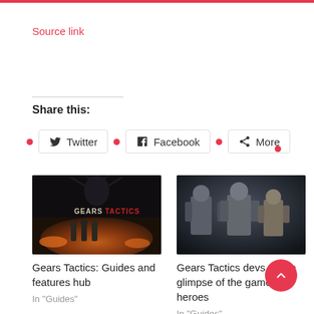Source link
Share this:
Twitter
Facebook
More
[Figure (photo): Gears Tactics game cover art showing characters in a battle scene with fire and a large monster silhouette, with GEARS TACTICS logo]
Gears Tactics: Guides and features hub
In "Guides"
[Figure (photo): Three Gears Tactics armored soldier character models standing on a dark background]
Gears Tactics devs give a glimpse of the game's heroes
In "Guides"